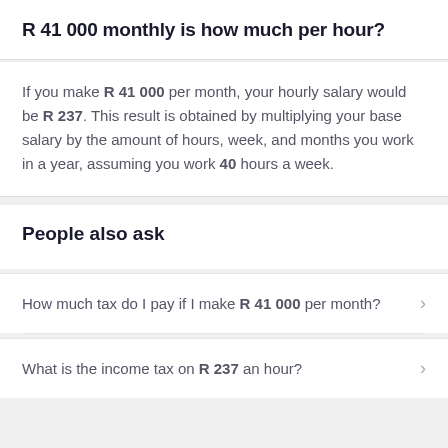R 41 000 monthly is how much per hour?
If you make R 41 000 per month, your hourly salary would be R 237. This result is obtained by multiplying your base salary by the amount of hours, week, and months you work in a year, assuming you work 40 hours a week.
People also ask
How much tax do I pay if I make R 41 000 per month?
What is the income tax on R 237 an hour?